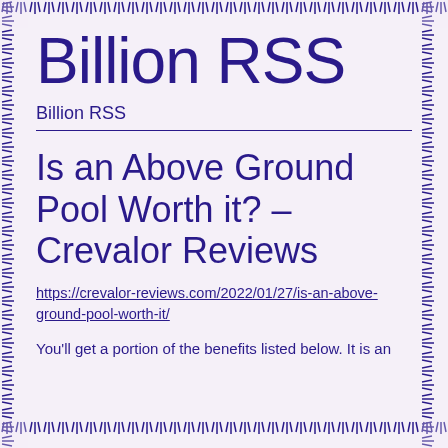Billion RSS
Billion RSS
Is an Above Ground Pool Worth it? – Crevalor Reviews
https://crevalor-reviews.com/2022/01/27/is-an-above-ground-pool-worth-it/
You'll get a portion of the benefits listed below. It is an